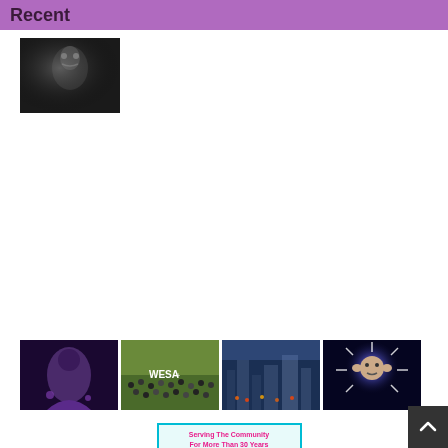Recent
[Figure (photo): Black and white photo, person with dramatic lighting]
[Figure (photo): Person in purple costume against dark background]
[Figure (photo): Large crowd group photo labeled WESA]
[Figure (photo): Outdoor city scene with crowd and flags]
[Figure (photo): Person with light burst around head on dark background]
[Figure (illustration): Advertisement: Serving The Community For More Than 30 Years with decorative text below]